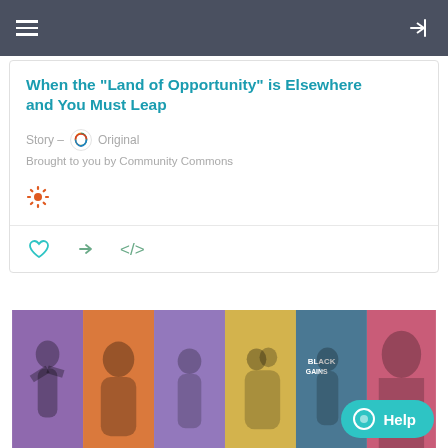Navigation bar with hamburger menu and login icon
When the "Land of Opportunity" is Elsewhere and You Must Leap
Story – Original
Brought to you by Community Commons
[Figure (other): Settings gear icon in orange]
[Figure (other): Action icons: heart (like), share arrow, embed code brackets]
[Figure (photo): Collage of six photos showing diverse people including protesters, a woman portrait, a speaker, an embracing couple, a protest sign reading Black/Gains, and a close-up face, with colored overlays in purple, orange, teal, yellow, blue/teal, and pink.]
Help